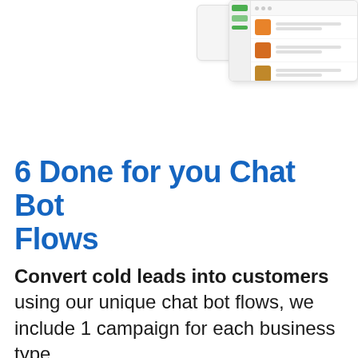[Figure (screenshot): Screenshot of a chat bot interface with a sidebar and food item listings with orange thumbnail images]
6 Done for you Chat Bot Flows
Convert cold leads into customers using our unique chat bot flows, we include 1 campaign for each business type